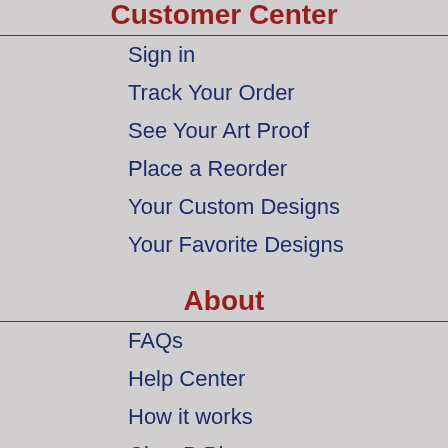Customer Center
Sign in
Track Your Order
See Your Art Proof
Place a Reorder
Your Custom Designs
Your Favorite Designs
About
FAQs
Help Center
How it works
ClassB Blog
Customer Reviews
Our Story